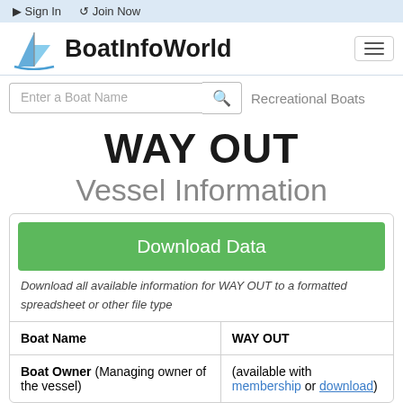Sign In   Join Now
[Figure (logo): BoatInfoWorld logo with sailboat icon and site name]
Enter a Boat Name   Recreational Boats
WAY OUT
Vessel Information
Download Data
Download all available information for WAY OUT to a formatted spreadsheet or other file type
| Boat Name | WAY OUT |
| --- | --- |
| Boat Owner (Managing owner of the vessel) | (available with membership or download) |